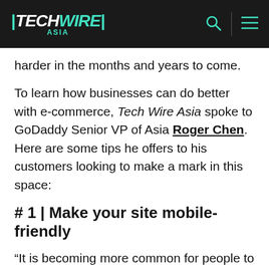TECHWIRE ASIA
harder in the months and years to come.
To learn how businesses can do better with e-commerce, Tech Wire Asia spoke to GoDaddy Senior VP of Asia Roger Chen. Here are some tips he offers to his customers looking to make a mark in this space:
# 1 | Make your site mobile-friendly
“It is becoming more common for people to turn to their mobile phones for their every need. In Singapore, especially, where one is constantly on the move, people are spending less time being desk-bound. From paying bills, transferring money and of course shopping, the mobile phone has become the